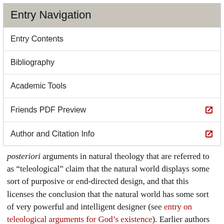Entry Navigation
Entry Contents
Bibliography
Academic Tools
Friends PDF Preview
Author and Citation Info
posteriori arguments in natural theology that are referred to as “teleological” claim that the natural world displays some sort of purposive or end-directed design, and that this licenses the conclusion that the natural world has some sort of very powerful and intelligent designer (see entry on teleological arguments for God’s existence). Earlier authors dubbed this sort of non-demonstrative, inductive argument a “physico-theological” argument (see, e.g., William Derham 1713).
Teleological arguments are often associated with William